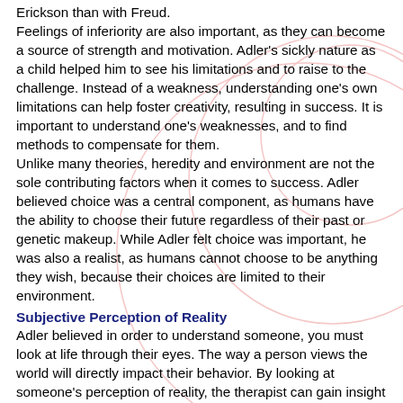Erickson than with Freud. Feelings of inferiority are also important, as they can become a source of strength and motivation. Adler's sickly nature as a child helped him to see his limitations and to raise to the challenge. Instead of a weakness, understanding one's own limitations can help foster creativity, resulting in success. It is important to understand one's weaknesses, and to find methods to compensate for them. Unlike many theories, heredity and environment are not the sole contributing factors when it comes to success. Adler believed choice was a central component, as humans have the ability to choose their future regardless of their past or genetic makeup. While Adler felt choice was important, he was also a realist, as humans cannot choose to be anything they wish, because their choices are limited to their environment.
Subjective Perception of Reality
Adler believed in order to understand someone, you must look at life through their eyes. The way a person views the world will directly impact their behavior. By looking at someone's perception of reality, the therapist can gain insight to understand